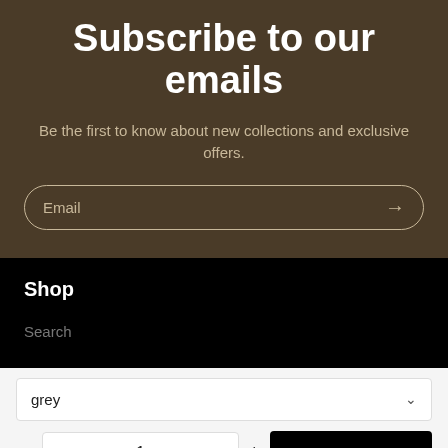Subscribe to our emails
Be the first to know about new collections and exclusive offers.
Email
Shop
Search
grey
- 1 + ADD TO CART